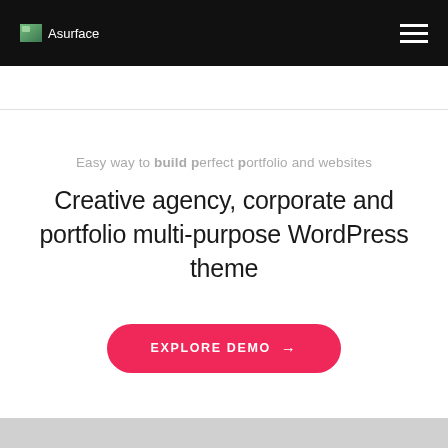Asurface
Easy way to build perfect portfolio and websites
Creative agency, corporate and portfolio multi-purpose WordPress theme
EXPLORE DEMO →